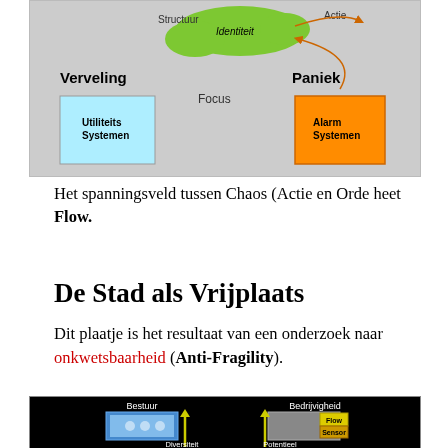[Figure (schematic): Flow diagram showing Verveling (boredom) on left with Utiliteits Systemen box, Paniek (panic) on right with Alarm Systemen box, Identiteit (identity) in green blob center-top, Focus in center, Structuur and Actie labels, connected by arrows on gray background.]
Het spanningsveld tussen Chaos (Actie en Orde heet Flow.
De Stad als Vrijplaats
Dit plaatje is het resultaat van een onderzoek naar onkwetsbaarheid (Anti-Fragility).
[Figure (schematic): Diagram on black background showing Bestuur (governance) on left with blue/green box, Bedrijvigheid (business activity) on right with gray/yellow Flow Sensor box, yellow arrows pointing up labeled Diversiteit and Potentieel.]